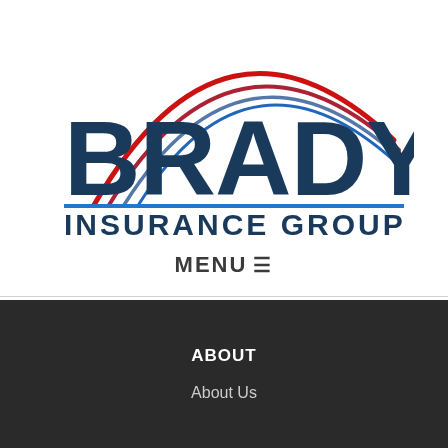[Figure (logo): Brady Insurance Group logo with red and blue arc swoosh graphic above large bold dark blue BRADY text, with INSURANCE GROUP beneath in dark blue, separated by a blue horizontal line]
MENU☰
ABOUT
About Us